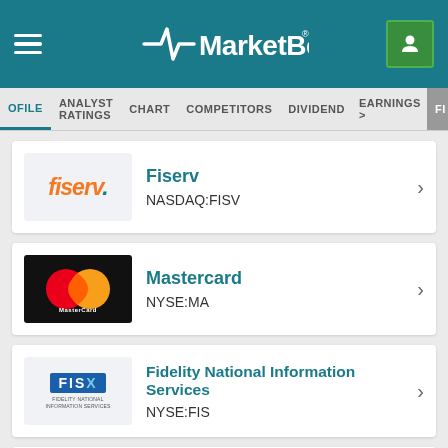MarketBeat
PROFILE  ANALYST RATINGS  CHART  COMPETITORS  DIVIDEND  EARNINGS > FI
Fiserv
NASDAQ:FISV
Mastercard
NYSE:MA
Fidelity National Information Services
NYSE:FIS
Visa
NYSE:V